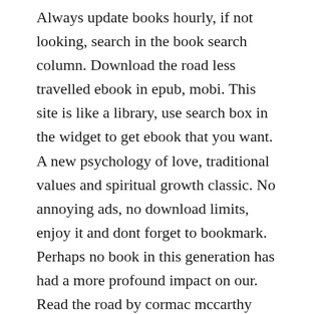Always update books hourly, if not looking, search in the book search column. Download the road less travelled ebook in epub, mobi. This site is like a library, use search box in the widget to get ebook that you want. A new psychology of love, traditional values and spiritual growth classic. No annoying ads, no download limits, enjoy it and dont forget to bookmark. Perhaps no book in this generation has had a more profound impact on our. Read the road by cormac mccarthy available from rakuten kobo. A graduate of both harvard university and case western reserve, dr peck